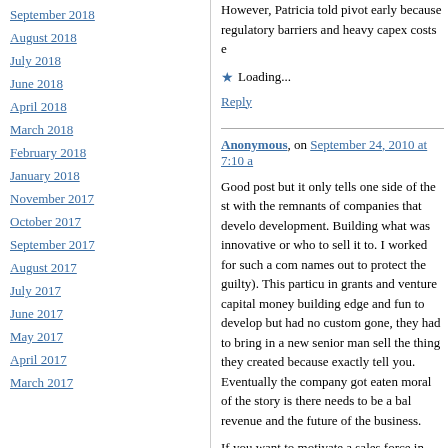September 2018
August 2018
July 2018
June 2018
April 2018
March 2018
February 2018
January 2018
November 2017
October 2017
September 2017
August 2017
July 2017
June 2017
May 2017
April 2017
March 2017
However, Patricia told pivot early because regulatory barriers and heavy capex costs e...
Loading...
Reply
Anonymous, on September 24, 2010 at 7:10 a...
Good post but it only tells one side of the st... with the remnants of companies that develo... development. Building what was innovative... or who to sell it to. I worked for such a com... names out to protect the guilty). This particu... in grants and venture capital money building... edge and fun to develop but had no custom... gone, they had to bring in a new senior man... sell the thing they created because exactly... tell you. Eventually the company got eaten... moral of the story is there needs to be a bal... revenue and the future of the business.
If you want to motivate a sales force in toda... the compensation plan. All sales people are... the things that make them the most money... correct the boats course, motivating your sa... burning the same boat that brought you the...